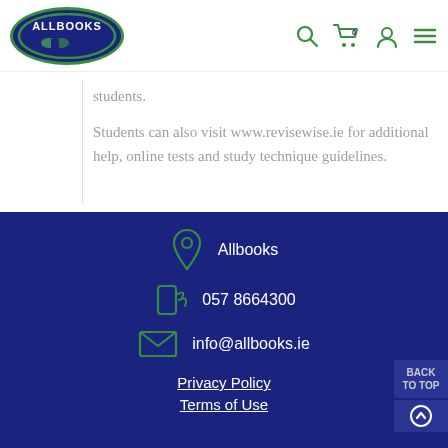[Figure (logo): Allbooks logo - dark blue oval with white text ALLBOOKS and book/bird illustration, green border]
students.
Students can also visit www.revisewise.ie for additional help, online tests and study technique guidelines.
Allbooks
057 8664300
info@allbooks.ie
Privacy Policy
Terms of Use